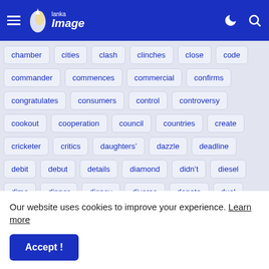Lanka Image — navigation header with menu, logo, dark mode, and search icons
chamber
cities
clash
clinches
close
code
commander
commences
commercial
confirms
congratulates
consumers
control
controversy
cookout
cooperation
council
countries
create
cricketer
critics
daughters&#8217;
dazzle
deadline
debit
debut
details
diamond
didn&#8217;t
diesel
dimo
dinner
disney
divorce
donate
dual
ended
energy
enforced
Our website uses cookies to improve your experience. Learn more
Accept !